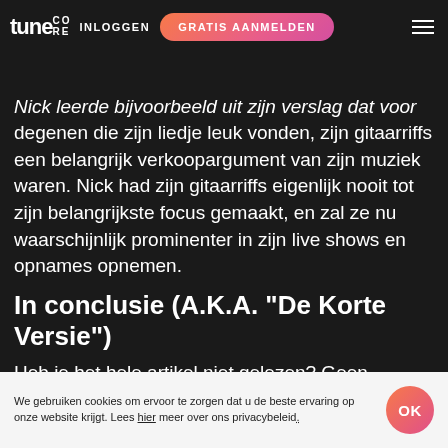TuneCore INLOGGEN | GRATIS AANMELDEN
daadwerkelijk zullen beïnvloeden.
Nick leerde bijvoorbeeld uit zijn verslag dat voor degenen die zijn liedje leuk vonden, zijn gitaarriffs een belangrijk verkoopargument van zijn muziek waren. Nick had zijn gitaarriffs eigenlijk nooit tot zijn belangrijkste focus gemaakt, en zal ze nu waarschijnlijk prominenter in zijn live shows en opnames opnemen.
In conclusie (A.K.A. "De Korte Versie")
Heb je het hele artikel niet gelezen? Geen probleem, hier is de kern van de zaak: uit de ervaring die Nick en Chris met deze verslagen hadden, is onze conclusie dat muziekbeoordelingsdiensten zeker een plaats kunnen hebben in de gereedschapskist
We gebruiken cookies om ervoor te zorgen dat u de beste ervaring op onze website krijgt. Lees hier meer over ons privacybeleid.